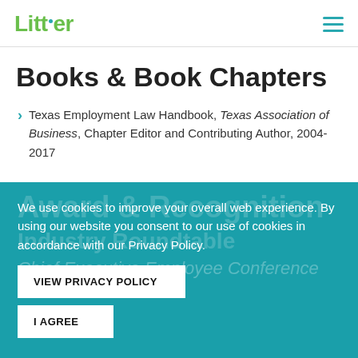Littler
Books & Book Chapters
Texas Employment Law Handbook, Texas Association of Business, Chapter Editor and Contributing Author, 2004-2017
We use cookies to improve your overall web experience. By using our website you consent to our use of cookies in accordance with our Privacy Policy.
VIEW PRIVACY POLICY
I AGREE